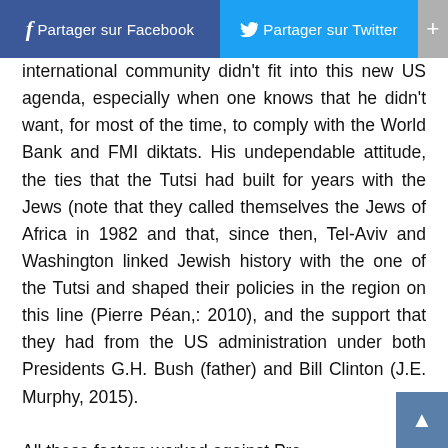Partager sur Facebook  Partager sur Twitter  +
international community didn't fit into this new US agenda, especially when one knows that he didn't want, for most of the time, to comply with the World Bank and FMI diktats. His undependable attitude, the ties that the Tutsi had built for years with the Jews (note that they called themselves the Jews of Africa in 1982 and that, since then, Tel-Aviv and Washington linked Jewish history with the one of the Tutsi and shaped their policies in the region on this line (Pierre Péan,: 2010), and the support that they had from the US administration under both Presidents G.H. Bush (father) and Bill Clinton (J.E. Murphy, 2015).
All these factors worked against Pre Habyarimana as the US strategy was to cause a general